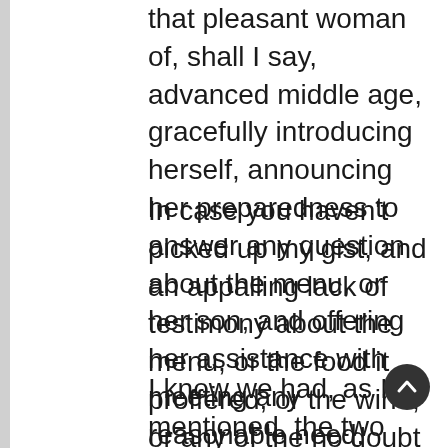that pleasant woman of, shall I say, advanced middle age, gracefully introducing herself, announcing her preparedness to answer any question about the menu, or her son, and offering her assistance with meeting any reasonable need.
In case you haven't picked up my gist, and an appalling lack of testimony about the menu, or the food it proffered, or the wine, or any of the no doubt fine details of smoothly functioning service, let me be clear. I frankly remember almost none of it.
I know we had, as I mentioned, the two menus on offer, one for omnivores and an alternative for vegetarians. I know there were eight courses – or was it ten – including the desserts, which I remember least of all. Not to suggest that the food we were given was not